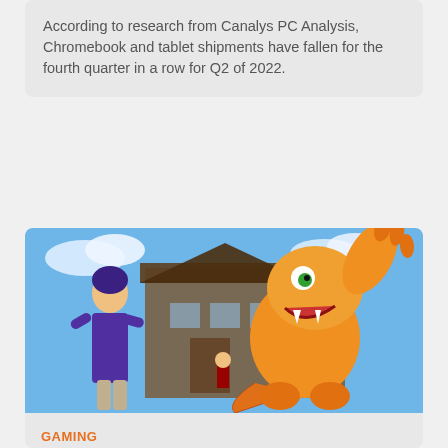According to research from Canalys PC Analysis, Chromebook and tablet shipments have fallen for the fourth quarter in a row for Q2 of 2022.
[Figure (illustration): Anime-style illustration showing a boy in purple outfit and an orange dinosaur-like Digimon creature (Agumon) waving, with a wooden building in the background under a blue sky.]
GAMING
Game review: Digimon Survive (PlayStation 5)
Since there's little actual gameplay in Digimon Survive, the biggest draw